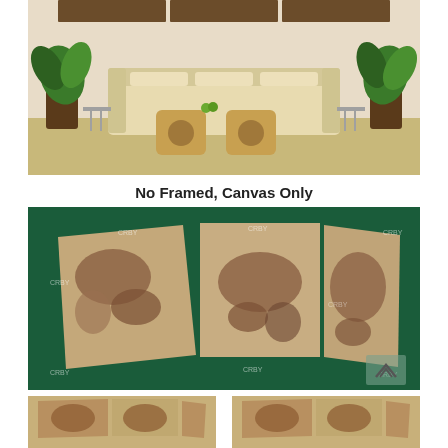[Figure (photo): Living room scene with a beige sofa, wooden cube coffee tables, two tall potted plants, and three canvas panels showing a vintage world map hanging on the wall above the sofa.]
No Framed, Canvas Only
[Figure (photo): Three unframed canvas panels of a vintage world map laid flat on a dark green surface, shown from an angle. Watermarks visible on the canvases. A small logo/watermark in the bottom right corner.]
[Figure (photo): Bottom left thumbnail showing the canvas panels of the vintage world map from a different angle.]
[Figure (photo): Bottom right thumbnail showing the canvas panels of the vintage world map arranged differently.]